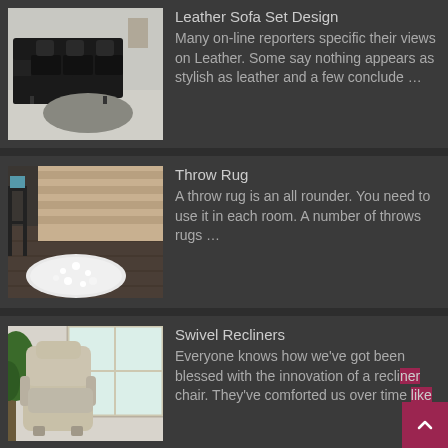[Figure (photo): Black leather sectional sofa set with gray shag rug in a living room]
Leather Sofa Set Design
Many on-line reporters specific their views on Leather. Some say nothing appears as stylish as leather and a few conclude …
[Figure (photo): Round white fluffy throw rug on dark floor next to a bed with beige blanket]
Throw Rug
A throw rug is an all rounder. You need to use it in each room. A number of throws rugs …
[Figure (photo): Beige swivel recliner chair near a bright window with a plant]
Swivel Recliners
Everyone knows how we've got been blessed with the innovation of a recliner chair. They've comforted us over time like